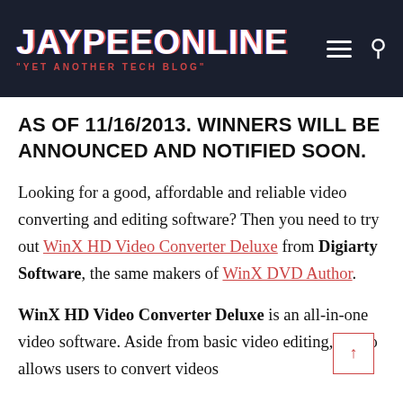JAYPEEONLINE "YET ANOTHER TECH BLOG"
AS OF 11/16/2013. WINNERS WILL BE ANNOUNCED AND NOTIFIED SOON.
Looking for a good, affordable and reliable video converting and editing software? Then you need to try out WinX HD Video Converter Deluxe from Digiarty Software, the same makers of WinX DVD Author.
WinX HD Video Converter Deluxe is an all-in-one video software. Aside from basic video editing, it also allows users to convert videos